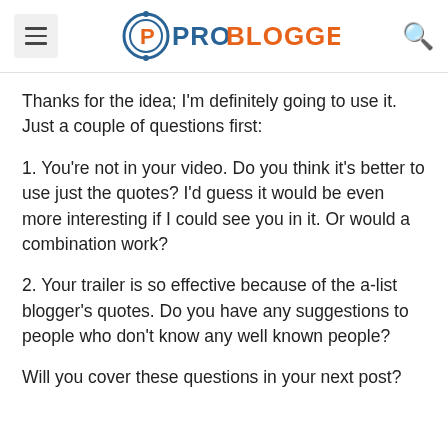ProBlogger
Thanks for the idea; I'm definitely going to use it. Just a couple of questions first:
1. You're not in your video. Do you think it's better to use just the quotes? I'd guess it would be even more interesting if I could see you in it. Or would a combination work?
2. Your trailer is so effective because of the a-list blogger's quotes. Do you have any suggestions to people who don't know any well known people?
Will you cover these questions in your next post?